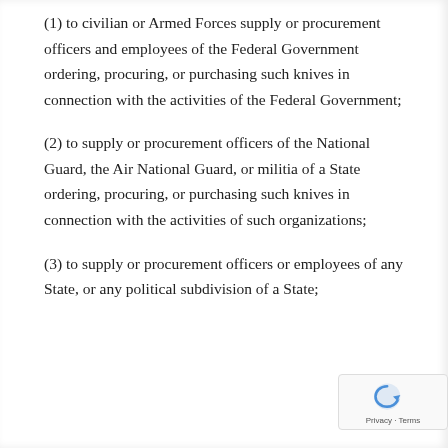(1) to civilian or Armed Forces supply or procurement officers and employees of the Federal Government ordering, procuring, or purchasing such knives in connection with the activities of the Federal Government;
(2) to supply or procurement officers of the National Guard, the Air National Guard, or militia of a State ordering, procuring, or purchasing such knives in connection with the activities of such organizations;
(3) to supply or procurement officers or employees of any State, or any political subdivision of a State; or any...